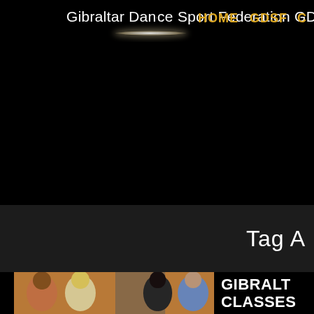Gibraltar Dance Sport Federation GDSF
HOME   GDSF   C
Tag A
[Figure (photo): Group of people dancing together in a dance class setting]
GIBRALT CLASSES